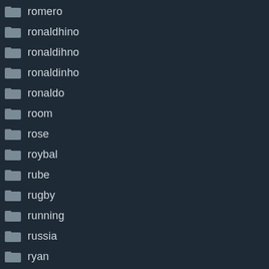romero
ronaldhino
ronaldihno
ronaldinho
ronaldo
room
rose
roybal
rube
rugby
running
russia
ryan
sadio
safety
said
salah
sale